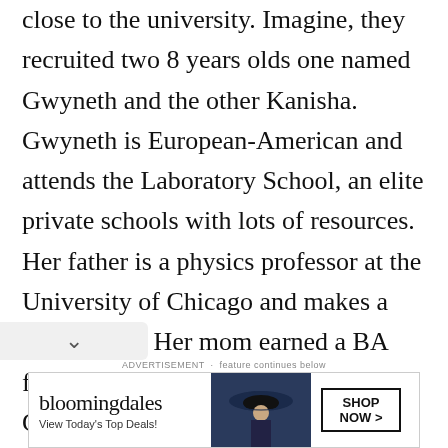...they to engage than with people close to the university. Imagine, they recruited two 8 years olds one named Gwyneth and the other Kanisha. Gwyneth is European-American and attends the Laboratory School, an elite private schools with lots of resources. Her father is a physics professor at the University of Chicago and makes a large salary. Her mom earned a BA from Harvard, and works at the Chicago Art Museum. Both parents came from wealthy, well-educated families, and are not religious.
[Figure (screenshot): Bloomingdale's advertisement banner with logo, tagline 'View Today's Top Deals!', image of woman in hat, and 'SHOP NOW >' button]